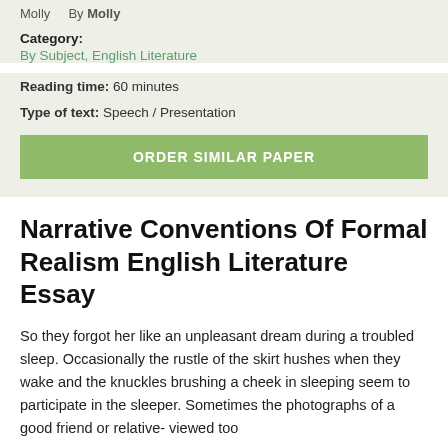Molly   By Molly
Category:
By Subject, English Literature
Reading time: 60 minutes
Type of text: Speech / Presentation
ORDER SIMILAR PAPER
Narrative Conventions Of Formal Realism English Literature Essay
So they forgot her like an unpleasant dream during a troubled sleep. Occasionally the rustle of the skirt hushes when they wake and the knuckles brushing a cheek in sleeping seem to participate in the sleeper. Sometimes the photographs of a good friend or relative- viewed too